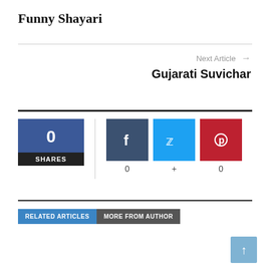Funny Shayari
Next Article → Gujarati Suvichar
[Figure (infographic): Social share widget showing 0 total shares, Facebook button with 0 shares, Twitter button with + symbol, Pinterest button with 0 shares]
RELATED ARTICLES | MORE FROM AUTHOR